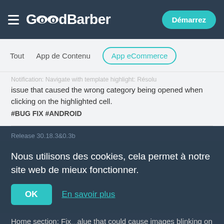GoodBarber — Démarrez
Tout   App de Contenu   App eCommerce
... issue that caused the wrong category being opened when clicking on the highlighted cell. #BUG FIX #ANDROID
Nous utilisons des cookies, cela permet à notre site web de mieux fonctionner.
Home section: Fix... value that could cause images blinking on display. #BUG FIX #ANDROID